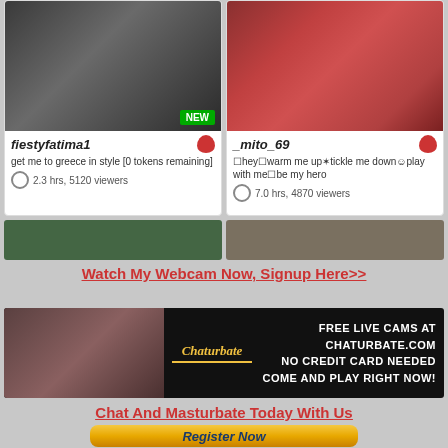[Figure (screenshot): Webcam chat listing card for user fiestyfatima1 with thumbnail image showing NEW badge, username, description 'get me to greece in style [0 tokens remaining]', and stats '2.3 hrs, 5120 viewers']
[Figure (screenshot): Webcam chat listing card for user _mito_69 with thumbnail image, username, description about warming up and playing, and stats '7.0 hrs, 4870 viewers']
[Figure (screenshot): Partial bottom card thumbnails showing two more webcam listings cropped]
Watch My Webcam Now, Signup Here>>
[Figure (photo): Chaturbate banner advertisement: FREE LIVE CAMS AT CHATURBATE.COM, NO CREDIT CARD NEEDED, COME AND PLAY RIGHT NOW!]
Chat And Masturbate Today With Us
[Figure (other): Register Now button with gold/yellow gradient background and dark blue bold italic text]